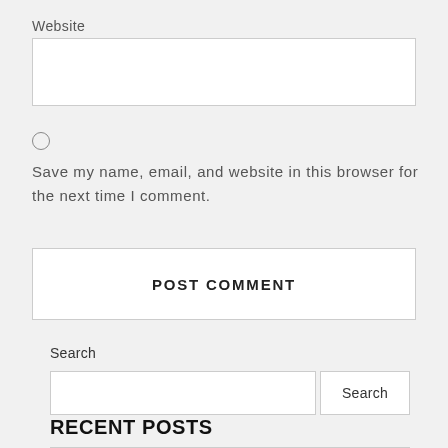Website
Save my name, email, and website in this browser for the next time I comment.
POST COMMENT
Search
RECENT POSTS
What exactly is Food Processor and exactly